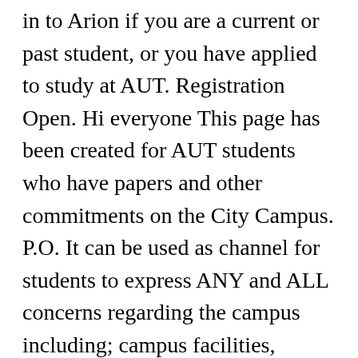in to Arion if you are a current or past student, or you have applied to study at AUT. Registration Open. Hi everyone This page has been created for AUT students who have papers and other commitments on the City Campus. P.O. It can be used as channel for students to express ANY and ALL concerns regarding the campus including; campus facilities, AUTSA run events and any other concerns regarding your studies on this campus. Come along to a biodiversity walk led by Claire Ellis. CORPORATE ENQUIRIES. Address. Refreshments will be served after the address Accommodation City Campus | JewelOfBombay AUT City Campus - South, and the AUT AUT University - KOKOS |